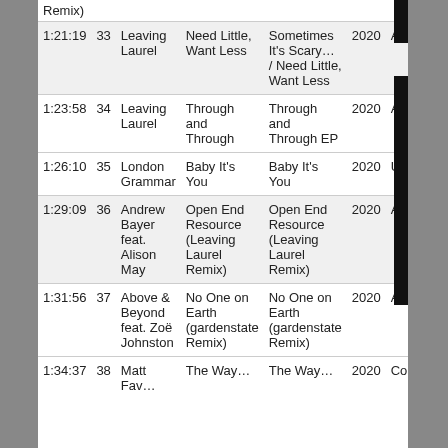| Time | # | Artist | Track | Album | Year | Label |
| --- | --- | --- | --- | --- | --- | --- |
|  |  |  | Remix) |  |  |  |
| 1:21:19 | 33 | Leaving Laurel | Need Little, Want Less | Sometimes It's Scary… / Need Little, Want Less | 2020 | Anjuna… |
| 1:23:58 | 34 | Leaving Laurel | Through and Through | Through and Through EP | 2020 | Anjuna… |
| 1:26:10 | 35 | London Grammar | Baby It's You | Baby It's You | 2020 | Univer… |
| 1:29:09 | 36 | Andrew Bayer feat. Alison May | Open End Resource (Leaving Laurel Remix) | Open End Resource (Leaving Laurel Remix) | 2020 | Anjuna… |
| 1:31:56 | 37 | Above & Beyond feat. Zoë Johnston | No One on Earth (gardenstate Remix) | No One on Earth (gardenstate Remix) | 2020 | Anjuna… |
| 1:34:37 | 38 | Matt Fav… | The Way… | The Way… | 2020 | Col… |